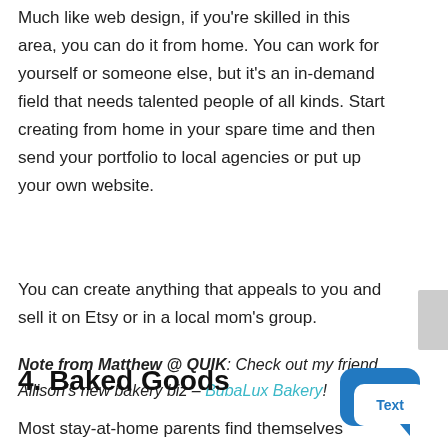Much like web design, if you're skilled in this area, you can do it from home. You can work for yourself or someone else, but it's an in-demand field that needs talented people of all kinds. Start creating from home in your spare time and then send your portfolio to local agencies or put up your own website.
You can create anything that appeals to you and sell it on Etsy or in a local mom's group.
Note from Matthew @ QUIK: Check out my friend Allison's new bakery biz – BubaLux Bakery!
4. Baked Goods
Most stay-at-home parents find themselves